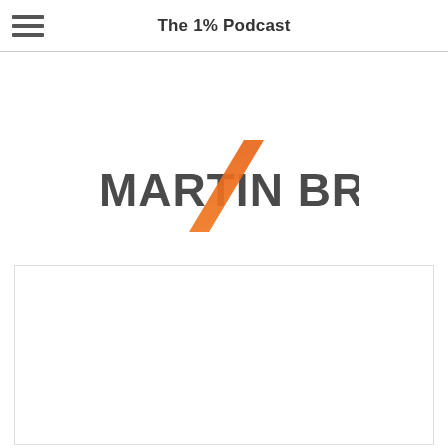The 1% Podcast
[Figure (logo): Martin Brooks logo with orange lightning bolt slash graphic overlaid on bold dark gray text reading MARTIN BROOKS]
[Figure (other): White content box with border, likely an embedded media player or content area]